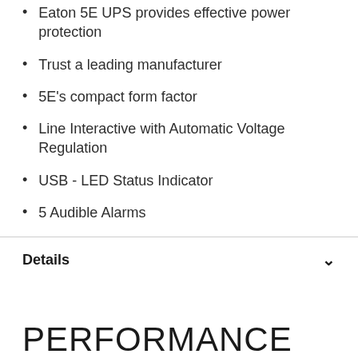Eaton 5E UPS provides effective power protection
Trust a leading manufacturer
5E's compact form factor
Line Interactive with Automatic Voltage Regulation
USB - LED Status Indicator
5 Audible Alarms
Details
PERFORMANCE
The Eaton 5E UPS provides effective power protection, even in disturbed electrical environments. Voltage fluctuations...